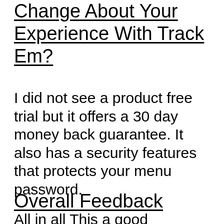Change About Your Experience With Track Em?
I did not see a product free trial but it offers a 30 day money back guarantee. It also has a security features that protects your menu password.
Overall Feedback
All in all This a good